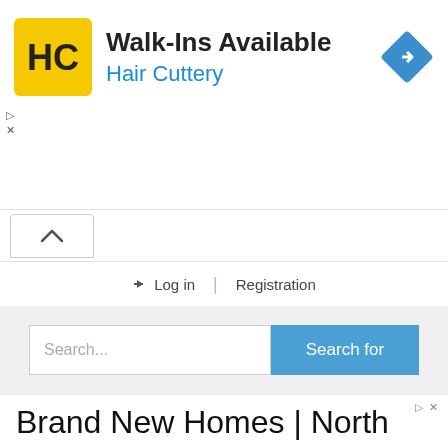[Figure (infographic): Hair Cuttery advertisement banner with logo (yellow square with HC text), 'Walk-Ins Available' headline, 'Hair Cuttery' subheading in blue, and a blue diamond navigation icon on the right.]
[Figure (screenshot): Chevron/up-arrow button indicating collapsible section]
Log in | Registration
[Figure (screenshot): Search bar with placeholder text 'Search...' and a blue 'Search for' button]
Temple Farm, The Bank. Marlcliff
[Figure (infographic): Second advertisement banner showing 'Brand New Homes | North' with ad controls]